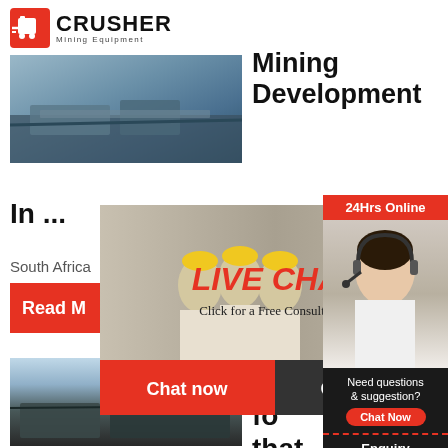[Figure (logo): Crusher Mining Equipment logo with red shopping cart icon and bold CRUSHER text]
[Figure (photo): Industrial mining equipment/conveyor belt machinery photo]
Mining Development In ...
South Africa
[Figure (screenshot): Live Chat overlay popup with workers in hard hats, LIVE CHAT heading, Click for a Free Consultation, Chat now and Chat later buttons]
[Figure (photo): Customer service representative with headset on right sidebar]
24Hrs Online
Need questions & suggestion?
Chat Now
Enquiry
limingjlmofen@sina.com
Read M
[Figure (photo): Mining site with heavy machinery and equipment outdoors]
five fo that